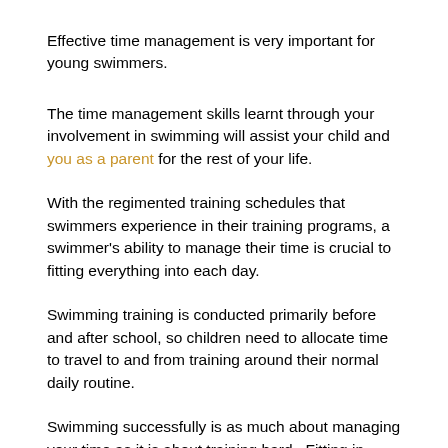Effective time management is very important for young swimmers.
The time management skills learnt through your involvement in swimming will assist your child and you as a parent for the rest of your life.
With the regimented training schedules that swimmers experience in their training programs, a swimmer's ability to manage their time is crucial to fitting everything into each day.
Swimming training is conducted primarily before and after school, so children need to allocate time to travel to and from training around their normal daily routine.
Swimming successfully is as much about managing your time as it is about training hard.  Fitting in training, school, homework, rest and recovery and having some time to